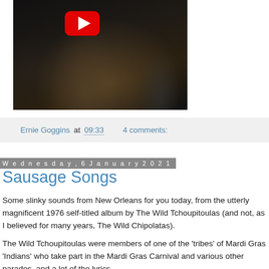[Figure (screenshot): YouTube video thumbnail showing a concert performer playing guitar on a dark stage, with a red YouTube play button visible in the upper portion]
Ernie Goggins at 09:33    4 comments:
Wednesday, 6 January 2021
Sausage Songs
Some slinky sounds from New Orleans for you today, from the utterly magnificent 1976 self-titled album by The Wild Tchoupitoulas (and not, as I believed for many years, The Wild Chipolatas).
The Wild Tchoupitoulas were members of one of the 'tribes' of Mardi Gras 'Indians' who take part in the Mardi Gras Carnival and various other parades, and a lot of the lyrics